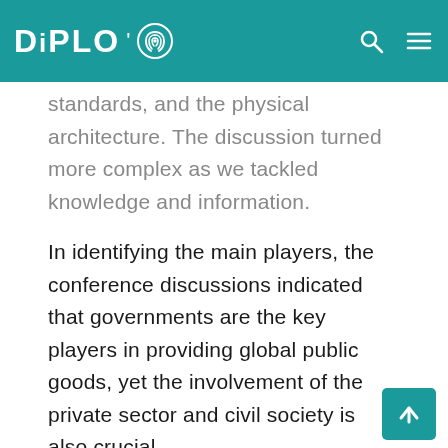DIPLO [logo]
standards, and the physical architecture. The discussion turned more complex as we tackled knowledge and information.
In identifying the main players, the conference discussions indicated that governments are the key players in providing global public goods, yet the involvement of the private sector and civil society is also crucial.
The forthcoming research will analyse the different concepts which were discussed specifically in one of the panels, including global public goods, common heritage of mankind, res